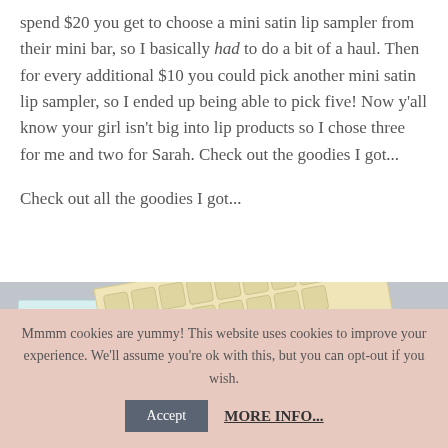spend $20 you get to choose a mini satin lip sampler from their mini bar, so I basically had to do a bit of a haul. Then for every additional $10 you could pick another mini satin lip sampler, so I ended up being able to pick five! Now y'all know your girl isn't big into lip products so I chose three for me and two for Sarah. Check out the goodies I got...
Check out all the goodies I got...
[Figure (photo): Photo of two ColourPop cosmetic product boxes on a light grey surface. On the left is a small teal/white ColourPop box with a circular black logo. On the right is a larger cream/gold patterned box with geometric grid pattern, angled diagonally, with text reading ILUVSARAHII and COLOUR P...]
Mmmm cookies are yummy! This website uses cookies to improve your experience. We'll assume you're ok with this, but you can opt-out if you wish.